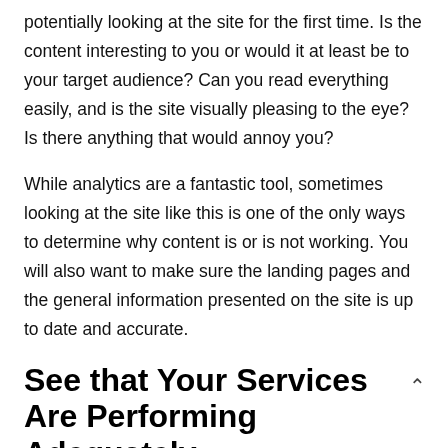potentially looking at the site for the first time. Is the content interesting to you or would it at least be to your target audience? Can you read everything easily, and is the site visually pleasing to the eye? Is there anything that would annoy you?
While analytics are a fantastic tool, sometimes looking at the site like this is one of the only ways to determine why content is or is not working. You will also want to make sure the landing pages and the general information presented on the site is up to date and accurate.
See that Your Services Are Performing Adequately
As part of your web presence audit, you should check to